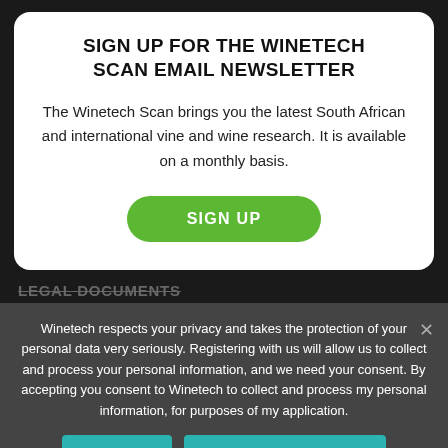SIGN UP FOR THE WINETECH SCAN EMAIL NEWSLETTER
The Winetech Scan brings you the latest South African and international vine and wine research. It is available on a monthly basis.
SIGN UP
LEGAL DOCUMENTS
Winetech respects your privacy and takes the protection of your personal data very seriously. Registering with us will allow us to collect and process your personal information, and we need your consent. By accepting you consent to Winetech to collect and process my personal information, for purposes of my application.
I ACCEPT
VIEW PRIVACY POLICY